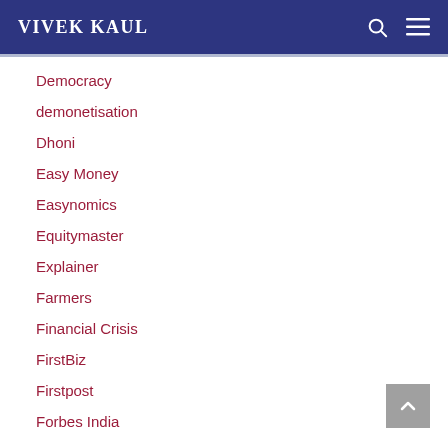VIVEK KAUL
Democracy
demonetisation
Dhoni
Easy Money
Easynomics
Equitymaster
Explainer
Farmers
Financial Crisis
FirstBiz
Firstpost
Forbes India